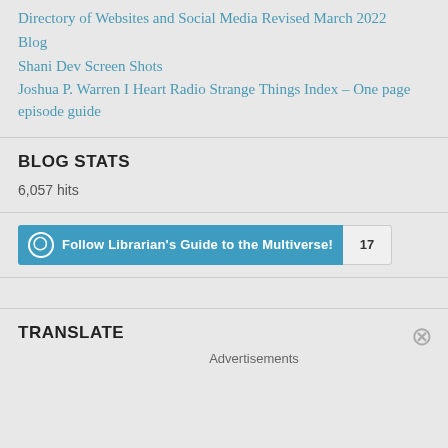Directory of Websites and Social Media Revised March 2022
Blog
Shani Dev Screen Shots
Joshua P. Warren I Heart Radio Strange Things Index – One page episode guide
BLOG STATS
6,057 hits
[Figure (other): Follow button widget for 'Librarian's Guide to the Multiverse!' with follower count badge showing 17]
TRANSLATE
Advertisements